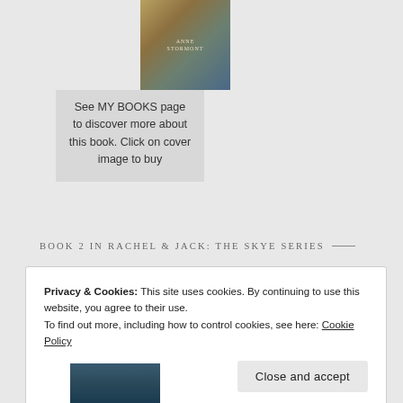[Figure (illustration): Book cover image for 'Anne Stormont' series showing a compass on aged background]
See MY BOOKS page to discover more about this book. Click on cover image to buy
BOOK 2 IN RACHEL & JACK: THE SKYE SERIES
Privacy & Cookies: This site uses cookies. By continuing to use this website, you agree to their use.
To find out more, including how to control cookies, see here: Cookie Policy
Close and accept
[Figure (illustration): Partial book cover visible at bottom of page, dark blue/teal tones]